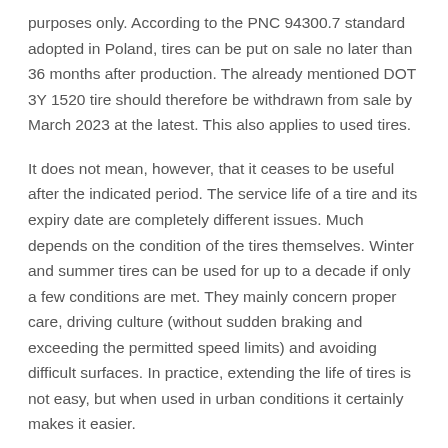purposes only. According to the PNC 94300.7 standard adopted in Poland, tires can be put on sale no later than 36 months after production. The already mentioned DOT 3Y 1520 tire should therefore be withdrawn from sale by March 2023 at the latest. This also applies to used tires.
It does not mean, however, that it ceases to be useful after the indicated period. The service life of a tire and its expiry date are completely different issues. Much depends on the condition of the tires themselves. Winter and summer tires can be used for up to a decade if only a few conditions are met. They mainly concern proper care, driving culture (without sudden braking and exceeding the permitted speed limits) and avoiding difficult surfaces. In practice, extending the life of tires is not easy, but when used in urban conditions it certainly makes it easier.
How to judge when tires are worn out?